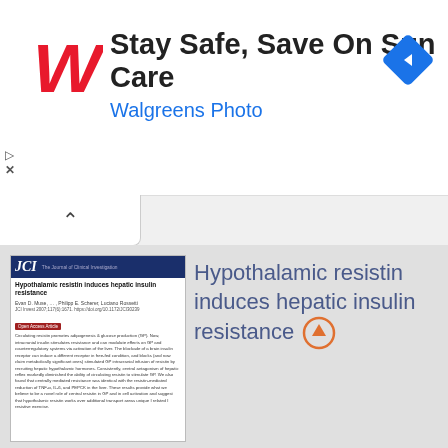[Figure (logo): Walgreens advertisement banner with red W logo, text 'Stay Safe, Save On Sun Care' and 'Walgreens Photo', and a blue navigation diamond icon on the right]
Hypothalamic resistin induces hepatic insulin resistance
[Figure (screenshot): Thumbnail of JCI (Journal of Clinical Investigation) article titled 'Hypothalamic resistin induces hepatic insulin resistance' by Evan D. Muse et al., Philipp E. Scherer, Luciano Rossetti]
Hypothalamic resistin induces hepatic insulin resistance